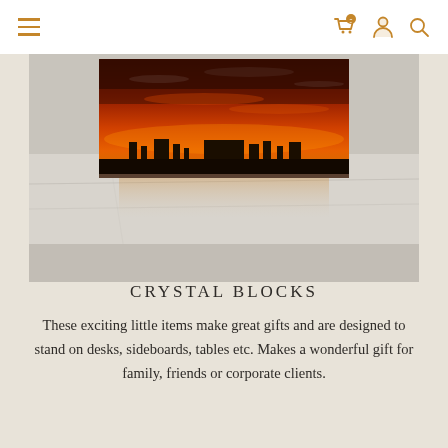Navigation header with hamburger menu and icons (cart with 0 badge, user, search)
[Figure (photo): A crystal/acrylic photo block displaying a vivid sunset landscape with silhouetted buildings, sitting on a white marble table surface. Warm orange-red tones fill the sky. The block reflects on the marble surface below it.]
CRYSTAL BLOCKS
These exciting little items make great gifts and are designed to stand on desks, sideboards, tables etc. Makes a wonderful gift for family, friends or corporate clients.